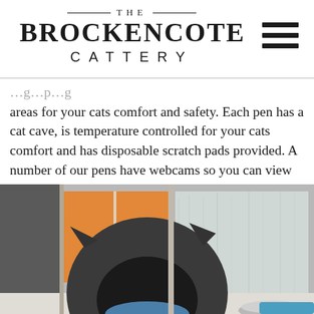THE BROCKENCOTE CATTERY
areas for your cats comfort and safety. Each pen has a cat cave, is temperature controlled for your cats comfort and has disposable scratch pads provided. A number of our pens have webcams so you can view your cat 24/7 whilst you are on holiday and put your mind at ease that your cat is fine and being well looked after.
[Figure (photo): A dark grey ceramic cat-shaped pod/cave sitting on a windowsill, with a blue cushion inside. A metal bowl and blue object are visible to the right. Window with frosted glass and an orange/warm exterior view in the background.]